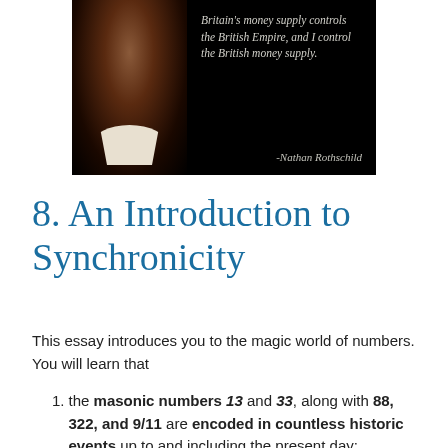[Figure (photo): Portrait painting of Nathan Rothschild with a black background and quote text to the right reading: "Britain's money supply controls the British Empire, and I control the British money supply." attributed to -Nathan Rothschild]
8. An Introduction to Synchronicity
This essay introduces you to the magic world of numbers. You will learn that
the masonic numbers 13 and 33, along with 88, 322, and 9/11 are encoded in countless historic events up to and including the present day;